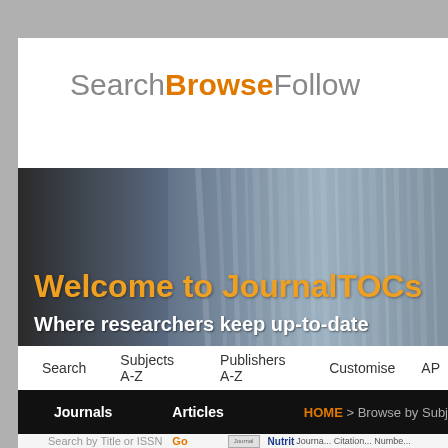SearchBrowseFollow
[Figure (screenshot): JournalTOCs website banner with text 'Welcome to JournalTOCs' in orange and 'Where researchers keep up-to-date' in white, over a blurred books/journals background]
Search  Subjects A-Z  Publishers A-Z  Customise  API
Journals   Articles   HOME > Browse by Subj...
Search by Title or ISSN  Go
[Figure (screenshot): Journal Cover image placeholder]
Nutrit... Journa... Citation... Numbe...